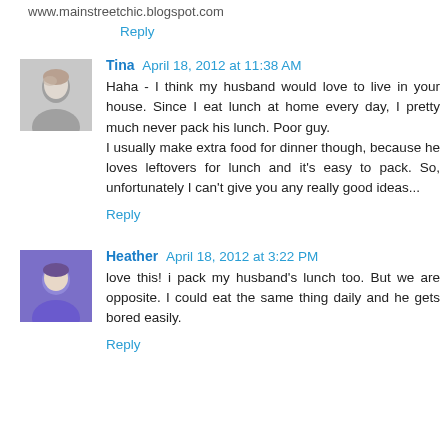www.mainstreetchic.blogspot.com
Reply
Tina April 18, 2012 at 11:38 AM
Haha - I think my husband would love to live in your house. Since I eat lunch at home every day, I pretty much never pack his lunch. Poor guy.
I usually make extra food for dinner though, because he loves leftovers for lunch and it's easy to pack. So, unfortunately I can't give you any really good ideas...
Reply
Heather April 18, 2012 at 3:22 PM
love this! i pack my husband's lunch too. But we are opposite. I could eat the same thing daily and he gets bored easily.
Reply